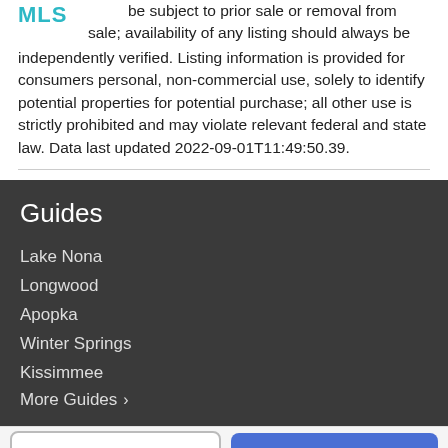be subject to prior sale or removal from sale; availability of any listing should always be independently verified. Listing information is provided for consumers personal, non-commercial use, solely to identify potential properties for potential purchase; all other use is strictly prohibited and may violate relevant federal and state law. Data last updated 2022-09-01T11:49:50.39.
Guides
Lake Nona
Longwood
Apopka
Winter Springs
Kissimmee
More Guides >
Take a Tour
Ask A Question